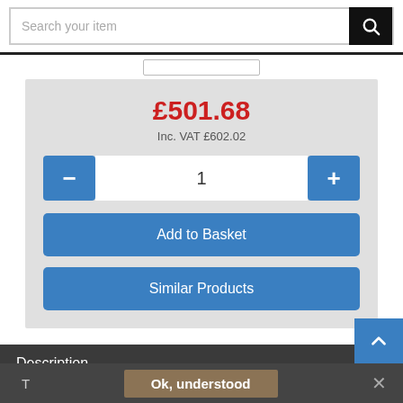[Figure (screenshot): Search bar with text 'Search your item' and black search icon button on the right]
£501.68
Inc. VAT £602.02
[Figure (screenshot): Quantity selector with minus button, input showing 1, and plus button]
Add to Basket
Similar Products
Description
Ok, understood